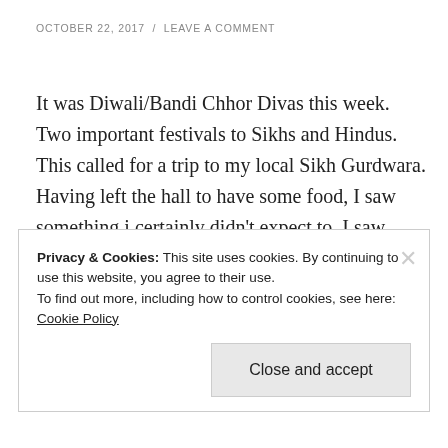OCTOBER 22, 2017 / LEAVE A COMMENT
It was Diwali/Bandi Chhor Divas this week. Two important festivals to Sikhs and Hindus. This called for a trip to my local Sikh Gurdwara. Having left the hall to have some food, I saw something i certainly didn't expect to. I saw Nuno. I even tapped my brother on the shoulder to confirm. Now Nuno … Continue reading
Privacy & Cookies: This site uses cookies. By continuing to use this website, you agree to their use. To find out more, including how to control cookies, see here: Cookie Policy
Close and accept